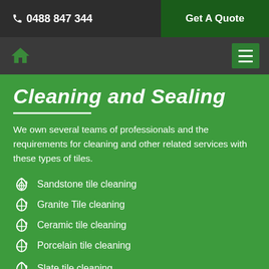☎ 0488 847 344 | Get A Quote
Cleaning and Sealing
We own several teams of professionals and the requirements for cleaning and other related services with these types of tiles.
Sandstone tile cleaning
Granite Tile cleaning
Ceramic tile cleaning
Porcelain tile cleaning
Slate tile cleaning
Terracotta tile cleaning